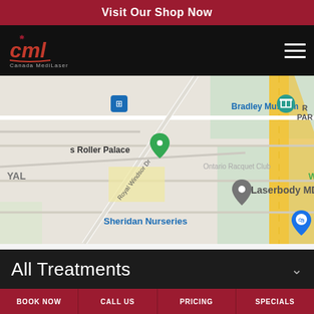Visit Our Shop Now
[Figure (logo): Canada MediLaser logo with cml letters in red and Canada MediLaser text below]
[Figure (map): Google Maps screenshot showing area with Bradley Museum, Roller Palace, Laserbody MD, Sheridan Nurseries markers near Royal Windsor Dr]
All Treatments
BOOK NOW | CALL US | PRICING | SPECIALS